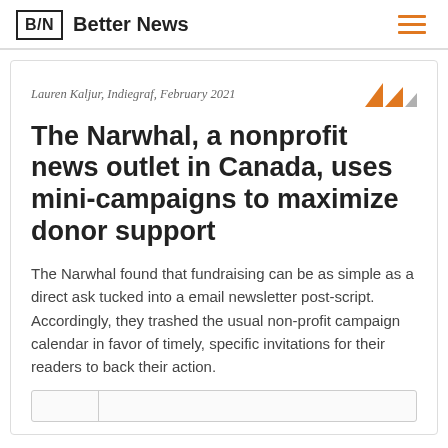B/N  Better News
Lauren Kaljur, Indiegraf, February 2021
The Narwhal, a nonprofit news outlet in Canada, uses mini-campaigns to maximize donor support
The Narwhal found that fundraising can be as simple as a direct ask tucked into a email newsletter post-script. Accordingly, they trashed the usual non-profit campaign calendar in favor of timely, specific invitations for their readers to back their action.